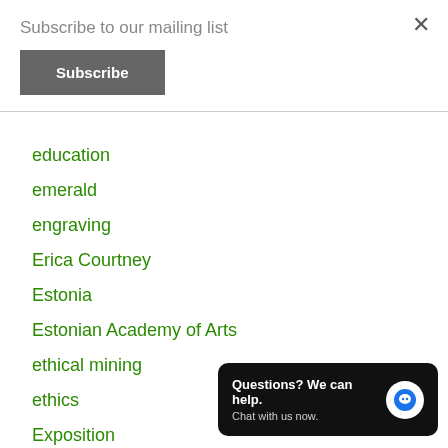Subscribe to our mailing list
Subscribe
education
emerald
engraving
Erica Courtney
Estonia
Estonian Academy of Arts
ethical mining
ethics
Exposition
fanta
Field Gemology
Questions? We can help. Chat with us now.